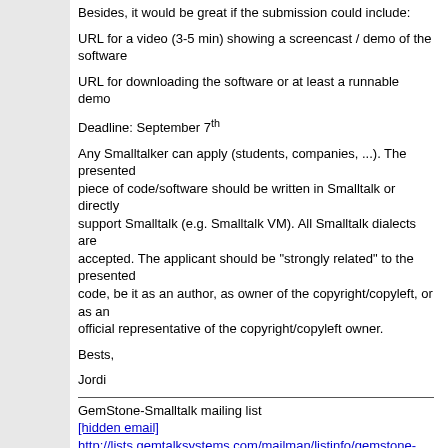Besides, it would be great if the submission could include:
URL for a video (3-5 min) showing a screencast / demo of the software
URL for downloading the software or at least a runnable demo
Deadline: September 7th
Any Smalltalker can apply (students, companies, ...). The presented piece of code/software should be written in Smalltalk or directly support Smalltalk (e.g. Smalltalk VM). All Smalltalk dialects are accepted. The applicant should be "strongly related" to the presented code, be it as an author, as owner of the copyright/copyleft, or as an official representative of the copyright/copyleft owner.
Bests,
Jordi
GemStone-Smalltalk mailing list
[hidden email]
http://lists.gemtalksystems.com/mailman/listinfo/gemstone-smalltalk